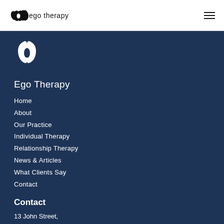ego therapy
[Figure (logo): White ego therapy logo mark — two teardrop/comma shapes forming a yin-yang style icon]
Ego Therapy
Home
About
Our Practice
Individual Therapy
Relationship Therapy
News & Articles
What Clients Say
Contact
Contact
13 John Street,
Stratford-Upon-Avon,